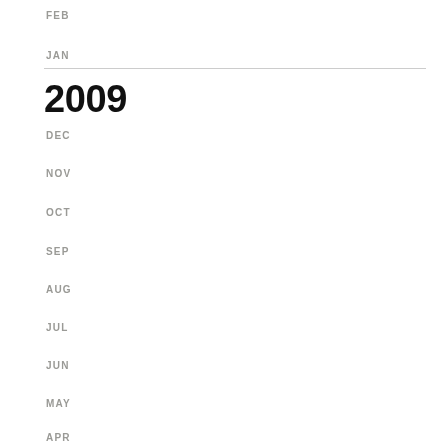FEB
JAN
2009
DEC
NOV
OCT
SEP
AUG
JUL
JUN
MAY
APR